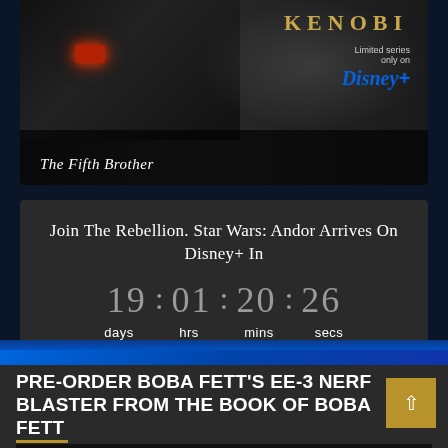[Figure (screenshot): Obi-Wan Kenobi Disney+ promotional image showing The Fifth Brother character with red glowing eyes, dusty background with KENOBI text in gold and Disney+ logo]
The Fifth Brother
Join The Rebellion. Star Wars: Andor Arrives On Disney+ In
19 : 01 : 20 : 26
days  hrs  mins  secs
PRE-ORDER BOBA FETT'S EE-3 NERF BLASTER FROM THE BOOK OF BOBA FETT
[Figure (photo): Partial thumbnail of Boba Fett content at bottom of page]